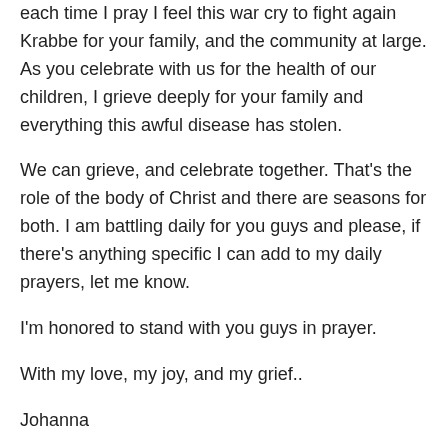each time I pray I feel this war cry to fight again Krabbe for your family, and the community at large. As you celebrate with us for the health of our children, I grieve deeply for your family and everything this awful disease has stolen.
We can grieve, and celebrate together. That's the role of the body of Christ and there are seasons for both. I am battling daily for you guys and please, if there's anything specific I can add to my daily prayers, let me know.
I'm honored to stand with you guys in prayer.
With my love, my joy, and my grief..
Johanna
…and the greatest of these is love